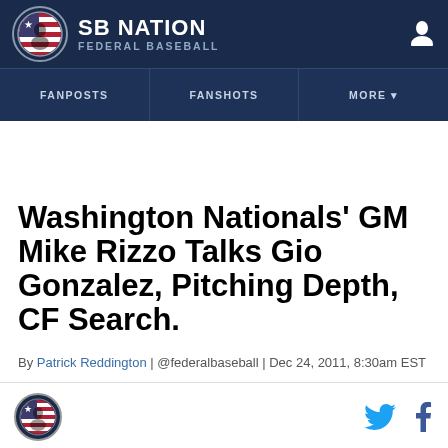SB NATION FEDERAL BASEBALL
Washington Nationals' GM Mike Rizzo Talks Gio Gonzalez, Pitching Depth, CF Search.
By Patrick Reddington | @federalbaseball | Dec 24, 2011, 8:30am EST